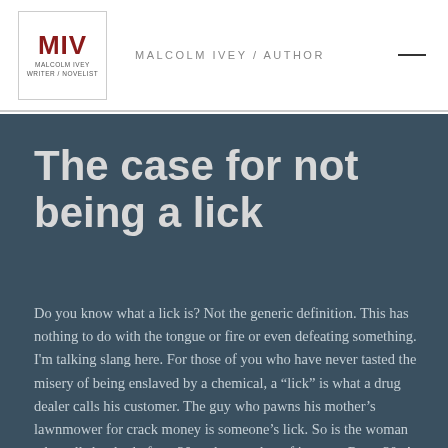MALCOLM IVEY / AUTHOR
The case for not being a lick
Do you know what a lick is? Not the generic definition. This has nothing to do with the tongue or fire or even defeating something. I'm talking slang here. For those of you who have never tasted the misery of being enslaved by a chemical, a “lick” is what a drug dealer calls his customer. The guy who pawns his mother’s lawnmower for crack money is someone’s lick. So is the woman who sells her body for a 20 rock, or a shot of ice, or a Roxy 30. A drug dealer may pretend to like you, he may act oblivious to your crumpled clothing and...